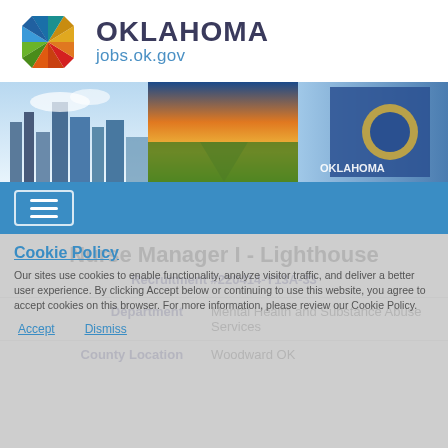[Figure (logo): Oklahoma jobs.ok.gov logo with colorful pinwheel icon and text OKLAHOMA jobs.ok.gov]
[Figure (photo): Banner panorama showing Oklahoma City skyline, wheat fields, and Oklahoma state flag]
[Figure (screenshot): Blue navigation bar with hamburger menu button]
Cookie Policy
Our sites use cookies to enable functionality, analyze visitor traffic, and deliver a better user experience. By clicking Accept below or continuing to use this website, you agree to accept cookies on this browser. For more information, please review our Cookie Policy.
Accept   Dismiss
Nurse Manager I - Lighthouse
Recruitment #220414-Y13A-33
| Field | Value |
| --- | --- |
| Department | Mental Health and Substance Abuse Services |
| County Location | Woodward OK |